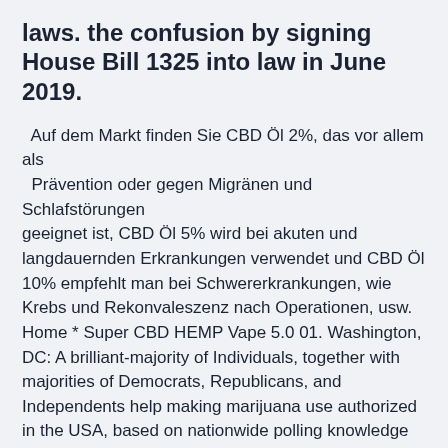laws. the confusion by signing House Bill 1325 into law in June 2019.
Auf dem Markt finden Sie CBD Öl 2%, das vor allem als Prävention oder gegen Migränen und Schlafstörungen geeignet ist, CBD Öl 5% wird bei akuten und langdauernden Erkrankungen verwendet und CBD Öl 10% empfehlt man bei Schwererkrankungen, wie Krebs und Rekonvaleszenz nach Operationen, usw. Home * Super CBD HEMP Vape 5.0 01. Washington, DC: A brilliant-majority of Individuals, together with majorities of Democrats, Republicans, and Independents help making marijuana use authorized in the USA, based on nationwide polling knowledge Is CBD Legal? The Legal Status of CBD in 2019 | CBD Origin Is CBD Legal?